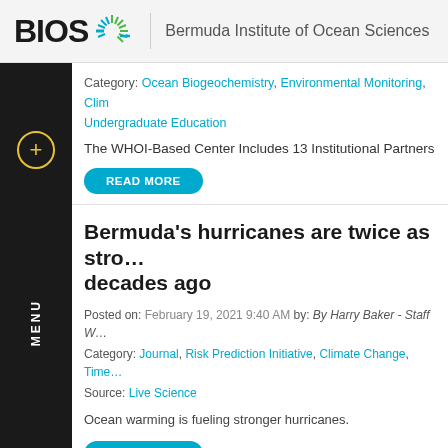BIOS — Bermuda Institute of Ocean Sciences
Category: Ocean Biogeochemistry, Environmental Monitoring, Clim… Undergraduate Education
The WHOI-Based Center Includes 13 Institutional Partners
READ MORE
Bermuda's hurricanes are twice as strong as decades ago
Posted on: February 19, 2021 9:40 AM by: By Harry Baker - Staff W…
Category: Journal, Risk Prediction Initiative, Climate Change, Time…
Source: Live Science
Ocean warming is fueling stronger hurricanes.
READ MORE